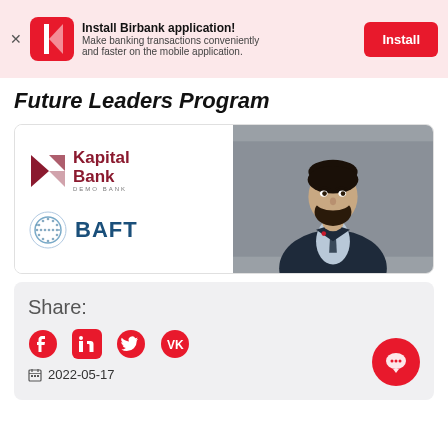[Figure (screenshot): Install Birbank application banner with red icon, install button, and promotional text]
Future Leaders Program
[Figure (logo): Card with Kapital Bank logo and BAFT logo on left, professional headshot of a man in a suit on the right]
Share:
2022-05-17